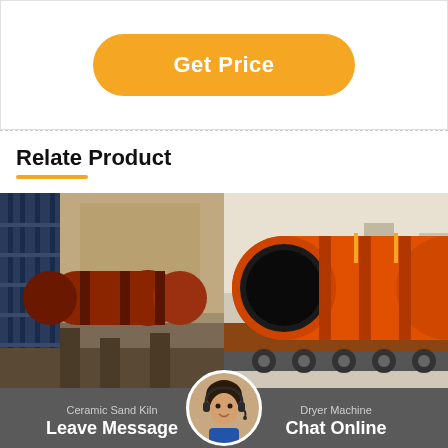Get Price
Relate Product
[Figure (photo): Industrial rotary kiln or dryer machine installed at a plant site with metallic scaffolding and rocky background]
[Figure (photo): Large orange rotary dryer machine being transported on a flatbed truck]
Ceramic Sand Kiln
Leave Message
Dryer Machine
Chat Online